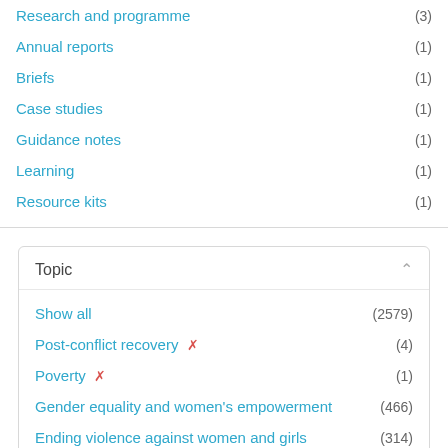Research and programme (3)
Annual reports (1)
Briefs (1)
Case studies (1)
Guidance notes (1)
Learning (1)
Resource kits (1)
Topic
Show all (2579)
Post-conflict recovery ✗ (4)
Poverty ✗ (1)
Gender equality and women's empowerment (466)
Ending violence against women and girls (314)
Economic empowerment (254)
Human rights (132)
COVID-19 (124)